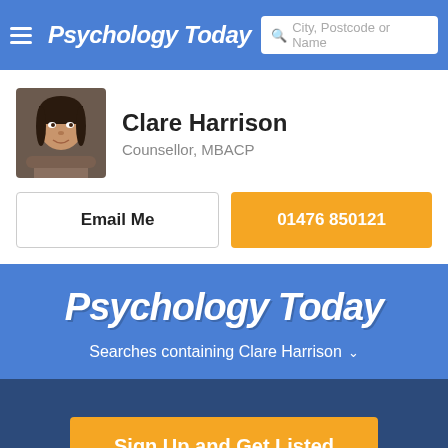Psychology Today — City, Postcode or Name search
Clare Harrison
Counsellor, MBACP
Email Me
01476 850121
Psychology Today
Searches containing Clare Harrison
Sign Up and Get Listed